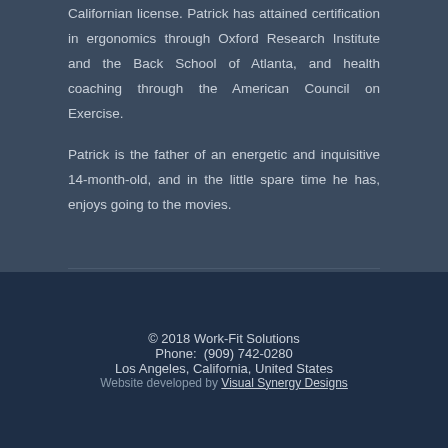Californian license. Patrick has attained certification in ergonomics through Oxford Research Institute and the Back School of Atlanta, and health coaching through the American Council on Exercise.
Patrick is the father of an energetic and inquisitive 14-month-old, and in the little spare time he has, enjoys going to the movies.
© 2018 Work-Fit Solutions
Phone: (909) 742-0280
Los Angeles, California, United States
Website developed by Visual Synergy Designs